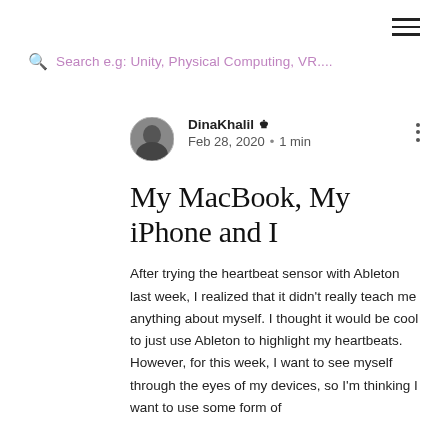[Figure (other): Hamburger menu icon (three horizontal lines) in top right]
Search e.g: Unity, Physical Computing, VR....
[Figure (photo): Circular avatar photo of author DinaKhalil]
DinaKhalil Admin
Feb 28, 2020 · 1 min
My MacBook, My iPhone and I
After trying the heartbeat sensor with Ableton last week, I realized that it didn't really teach me anything about myself. I thought it would be cool to just use Ableton to highlight my heartbeats. However, for this week, I want to see myself through the eyes of my devices, so I'm thinking I want to use some form of